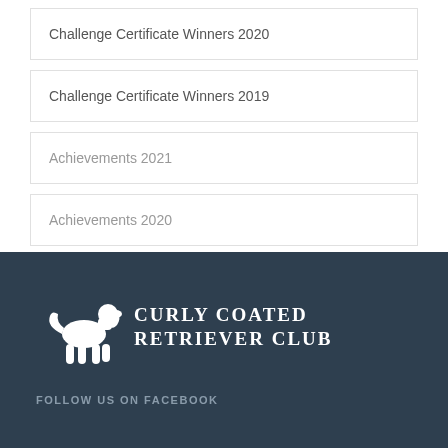Challenge Certificate Winners 2020
Challenge Certificate Winners 2019
Achievements 2021
Achievements 2020
Achievements 2019
[Figure (logo): Curly Coated Retriever Club logo: white silhouette of a dog with text CURLY COATED RETRIEVER CLUB in white serif uppercase letters on dark teal background]
FOLLOW US ON FACEBOOK